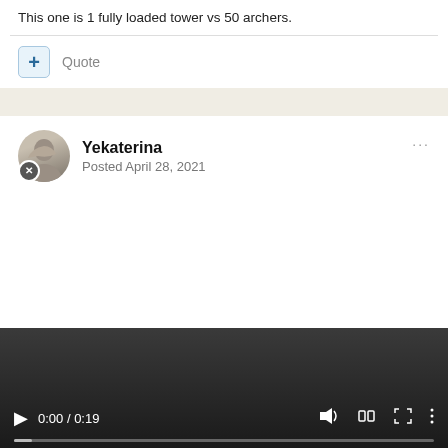This one is 1 fully loaded tower vs 50 archers.
Quote
Yekaterina
Posted April 28, 2021
[Figure (screenshot): Video player with controls showing 0:00 / 0:19, play button, volume, fullscreen, and more options icons, with a progress bar at the bottom.]